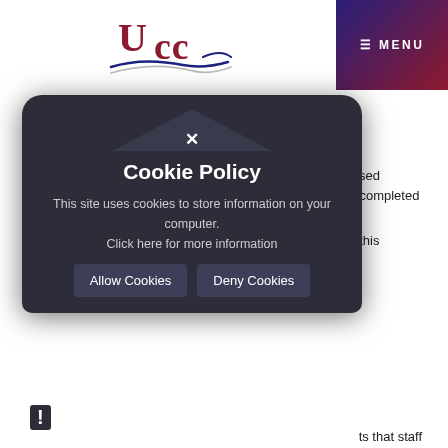[Figure (logo): UCC (University College Cork or similar) logo with red/maroon lettering and blue wave swoosh beneath]
Mr Solly
Principal
Teacher Assessed Grades
The evidence that will be used in awarding Teacher Assessed Grades for this year's GCSEs must be based on the work completed at UCC 2020.
UCC has consulted with students and parents throughout this process. We will continue to safeguard the
ts that staff
[Figure (screenshot): Cookie Policy overlay/modal on a dark semi-transparent background. Contains title 'Cookie Policy', message 'This site uses cookies to store information on your computer. Click here for more information', and two buttons: 'Allow Cookies' and 'Deny Cookies'. Has a close X button at top and an exclamation mark at bottom left.]